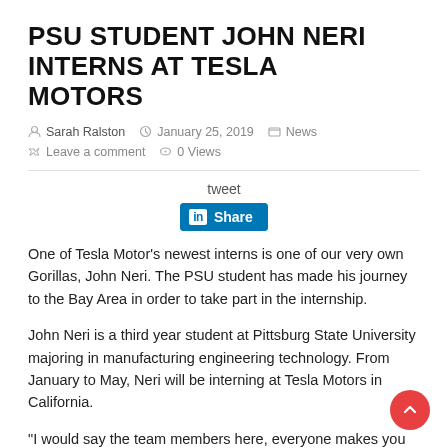PSU STUDENT JOHN NERI INTERNS AT TESLA MOTORS
Sarah Ralston  January 25, 2019  News  Leave a comment  0 Views
[Figure (other): LinkedIn Share button with tweet link]
One of Tesla Motor's newest interns is one of our very own Gorillas, John Neri. The PSU student has made his journey to the Bay Area in order to take part in the internship.
John Neri is a third year student at Pittsburg State University majoring in manufacturing engineering technology. From January to May, Neri will be interning at Tesla Motors in California.
“I would say the team members here, everyone makes you feel like you’re at home, like you’re a key player,” Neri said. “They told me on my first day, you’re not an intern, you’re not going to be treated like an intern, you’re going to be treated like a full-time employee, and I